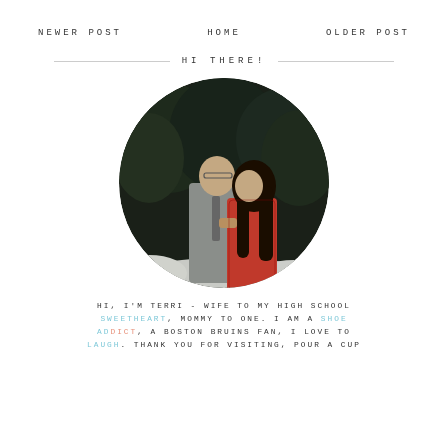NEWER POST    HOME    OLDER POST
HI THERE!
[Figure (photo): Circular cropped photo of a couple in a snowy outdoor setting with evergreen trees in the background. A man in a grey shirt and tie faces a woman in a red lace top with long dark hair.]
HI, I'M TERRI - WIFE TO MY HIGH SCHOOL SWEETHEART, MOMMY TO ONE. I AM A SHOE ADDICT, A BOSTON BRUINS FAN, I LOVE TO LAUGH. THANK YOU FOR VISITING, POUR A CUP